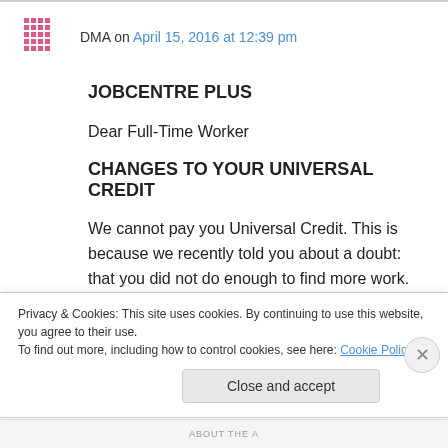DMA on April 15, 2016 at 12:39 pm
JOBCENTRE PLUS
Dear Full-Time Worker
CHANGES TO YOUR UNIVERSAL CREDIT
We cannot pay you Universal Credit. This is because we recently told you about a doubt: that you did not do enough to find more work. We have now decided that you did not do enough to
Privacy & Cookies: This site uses cookies. By continuing to use this website, you agree to their use.
To find out more, including how to control cookies, see here: Cookie Policy